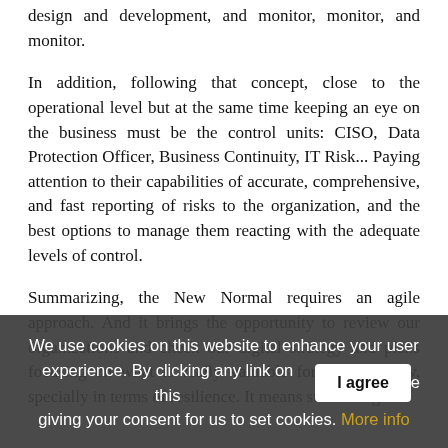design and development, and monitor, monitor, and monitor.
In addition, following that concept, close to the operational level but at the same time keeping an eye on the business must be the control units: CISO, Data Protection Officer, Business Continuity, IT Risk... Paying attention to their capabilities of accurate, comprehensive, and fast reporting of risks to the organization, and the best options to manage them reacting with the adequate levels of control.
Summarizing, the New Normal requires an agile approach. And it brings the opportunity to review our organizations and check our digital strategy and plans focusing on what is really valuable for the company, specially in terms of resilience. It means structuring
We use cookies on this website to enhance your user experience. By clicking any link on this page you are giving your consent for us to set cookies. More info